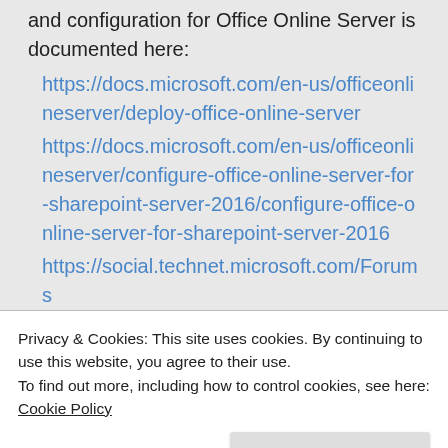and configuration for Office Online Server is documented here: https://docs.microsoft.com/en-us/officeonlineserver/deploy-office-online-server https://docs.microsoft.com/en-us/officeonlineserver/configure-office-online-server-for-sharepoint-server-2016/configure-office-online-server-for-sharepoint-server-2016 https://social.technet.microsoft.com/Forums
Privacy & Cookies: This site uses cookies. By continuing to use this website, you agree to their use.
To find out more, including how to control cookies, see here: Cookie Policy
Close and accept
2012 R2 VM and join it to the same domain